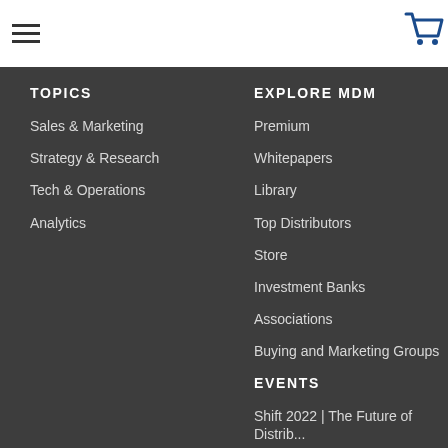[Figure (other): Hamburger menu icon (three horizontal lines)]
[Figure (other): Shopping cart icon in blue]
TOPICS
Sales & Marketing
Strategy & Research
Tech & Operations
Analytics
EXPLORE MDM
Premium
Whitepapers
Library
Top Distributors
Store
Investment Banks
Associations
Buying and Marketing Groups
EVENTS
Shift 2022 | The Future of Distribution